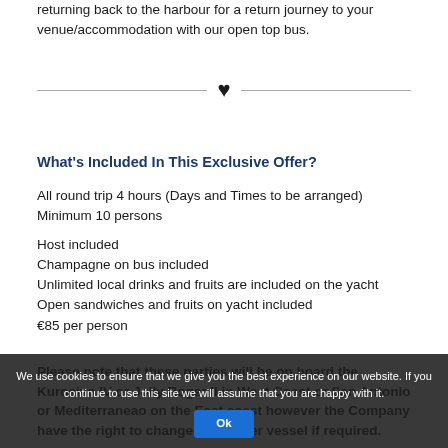returning back to the harbour for a return journey to your venue/accommodation with our open top bus.
[Figure (illustration): Decorative divider with a black heart icon centered between two horizontal lines]
What's Included In This Exclusive Offer?
All round trip 4 hours (Days and Times to be arranged)
Minimum 10 persons
Host included
Champagne on bus included
Unlimited local drinks and fruits are included on the yacht
Open sandwiches and fruits on yacht included
€85 per person
Please note that these parties will be on board the Kurosivo IV or Jolly Roger II in West Coast or San Antonio or Mediterraneao on the East coast however the Company have the right to change to another vessel if required.
We use cookies to ensure that we give you the best experience on our website. If you continue to use this site we will assume that you are happy with it. Ok